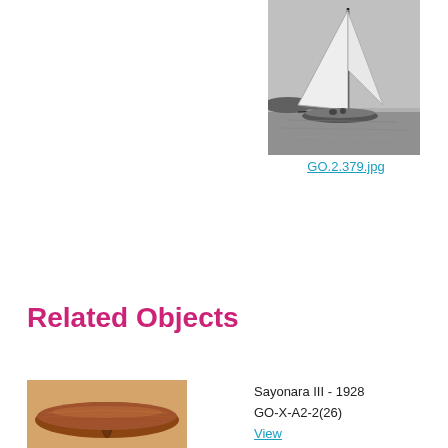[Figure (photo): Black and white photograph of a sailboat (Sayonara III) on the water with sails raised]
GO.2.379.jpg
Related Objects
[Figure (photo): Color photograph of a wooden boat hull model, polished dark wood]
Sayonara III - 1928
GO-X-A2-2(26)
View